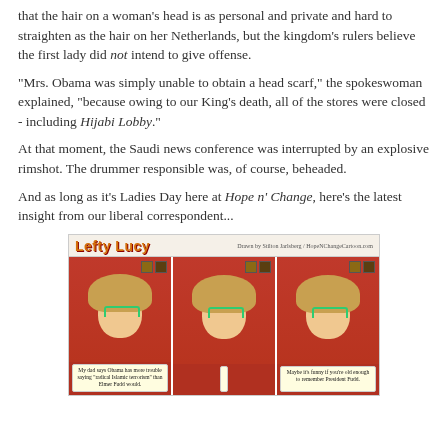that the hair on a woman's head is as personal and private and hard to straighten as the hair on her Netherlands, but the kingdom's rulers believe the first lady did not intend to give offense.
"Mrs. Obama was simply unable to obtain a head scarf," the spokeswoman explained, "because owing to our King's death, all of the stores were closed - including Hijabi Lobby."
At that moment, the Saudi news conference was interrupted by an explosive rimshot. The drummer responsible was, of course, beheaded.
And as long as it's Ladies Day here at Hope n' Change, here's the latest insight from our liberal correspondent...
[Figure (illustration): Comic strip titled 'Lefty Lucy' showing a young woman with curly hair and green glasses in three panels. Panel 1 caption: 'My dad says Obama has more trouble saying "radical Islamic terrorism" than Elmer Fudd would.' Panel 2: no caption visible. Panel 3 caption: 'Maybe it's funny if you're old enough to remember President Fudd.']